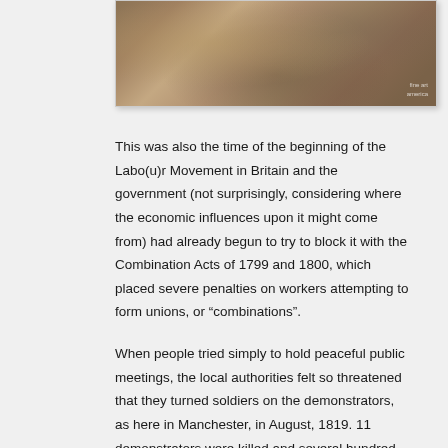[Figure (illustration): Historical illustration of a textile mill or factory interior showing workers (women and children) operating large industrial machinery, rollers and equipment. A Fine Art America watermark is visible in the bottom right corner.]
This was also the time of the beginning of the Labo(u)r Movement in Britain and the government (not surprisingly, considering where the economic influences upon it might come from) had already begun to try to block it with the Combination Acts of 1799 and 1800, which placed severe penalties on workers attempting to form unions, or “combinations”.
When people tried simply to hold peaceful public meetings, the local authorities felt so threatened that they turned soldiers on the demonstrators, as here in Manchester, in August, 1819. 11 demonstrators were killed and several hundred were injured.